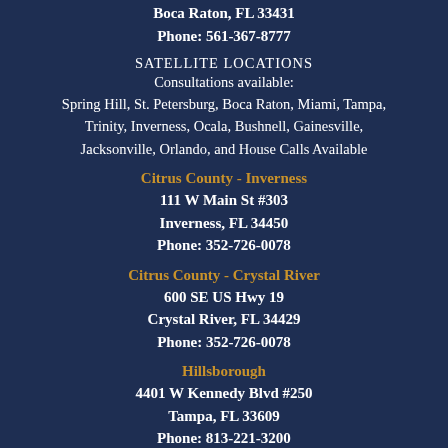Boca Raton, FL 33431
Phone: 561-367-8777
SATELLITE LOCATIONS
Consultations available:
Spring Hill, St. Petersburg, Boca Raton, Miami, Tampa, Trinity, Inverness, Ocala, Bushnell, Gainesville, Jacksonville, Orlando, and House Calls Available
Citrus County - Inverness
111 W Main St #303
Inverness, FL 34450
Phone: 352-726-0078
Citrus County - Crystal River
600 SE US Hwy 19
Crystal River, FL 34429
Phone: 352-726-0078
Hillsborough
4401 W Kennedy Blvd #250
Tampa, FL 33609
Phone: 813-221-3200